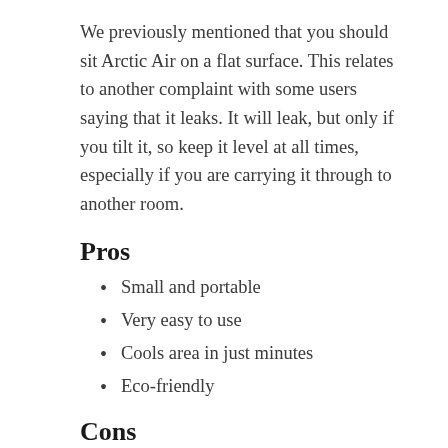We previously mentioned that you should sit Arctic Air on a flat surface. This relates to another complaint with some users saying that it leaks. It will leak, but only if you tilt it, so keep it level at all times, especially if you are carrying it through to another room.
Pros
Small and portable
Very easy to use
Cools area in just minutes
Eco-friendly
Cons
Can leak if tilted
Finding outlets that sell filter